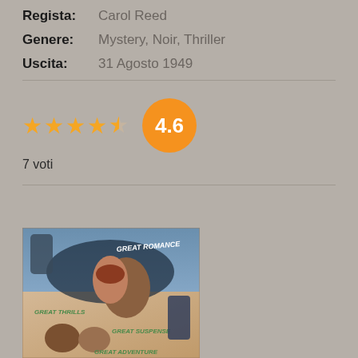Regista: Carol Reed
Genere: Mystery, Noir, Thriller
Uscita: 31 Agosto 1949
★★★★½  4.6  7 voti
[Figure (photo): Movie poster for a 1949 film showing romantic couple embracing with text 'Great Romance', 'Great Thrills', 'Great Suspense', 'Great Adventure']